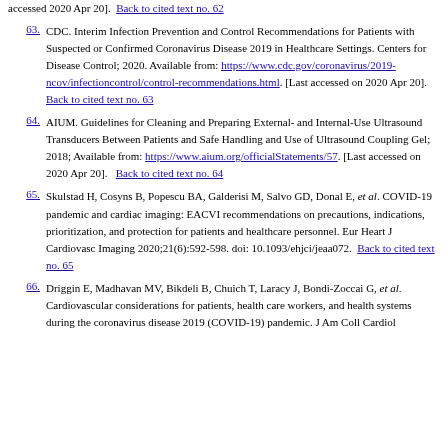accessed 2020 Apr 20].  Back to cited text no. 62
63. CDC. Interim Infection Prevention and Control Recommendations for Patients with Suspected or Confirmed Coronavirus Disease 2019 in Healthcare Settings. Centers for Disease Control; 2020. Available from: https://www.cdc.gov/coronavirus/2019-ncov/infectioncontrol/control-recommendations.html. [Last accessed on 2020 Apr 20].  Back to cited text no. 63
64. AIUM. Guidelines for Cleaning and Preparing External- and Internal-Use Ultrasound Transducers Between Patients and Safe Handling and Use of Ultrasound Coupling Gel; 2018; Available from: https://www.aium.org/officialStatements/57. [Last accessed on 2020 Apr 20].  Back to cited text no. 64
65. Skulstad H, Cosyns B, Popescu BA, Galderisi M, Salvo GD, Donal E, et al. COVID-19 pandemic and cardiac imaging: EACVI recommendations on precautions, indications, prioritization, and protection for patients and healthcare personnel. Eur Heart J Cardiovasc Imaging 2020;21(6):592-598. doi: 10.1093/ehjci/jeaa072. Back to cited text no. 65
66. Driggin E, Madhavan MV, Bikdeli B, Chuich T, Laracy J, Bondi-Zoccai G, et al. Cardiovascular considerations for patients, health care workers, and health systems during the coronavirus disease 2019 (COVID-19) pandemic. J Am Coll Cardiol